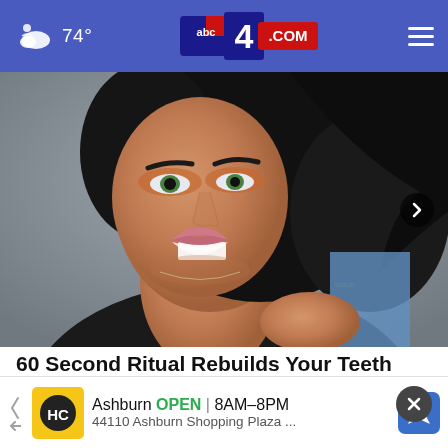74° abc4.com
[Figure (photo): Woman with dark hair smiling at camera, wearing black outfit, with heavy eye makeup and bright smile]
60 Second Ritual Rebuilds Your Teeth and Gums (Watch)
Patriot Health Zone
[Figure (screenshot): Advertisement banner: Ashburn OPEN 8AM-8PM, 44110 Ashburn Shopping Plaza ...]